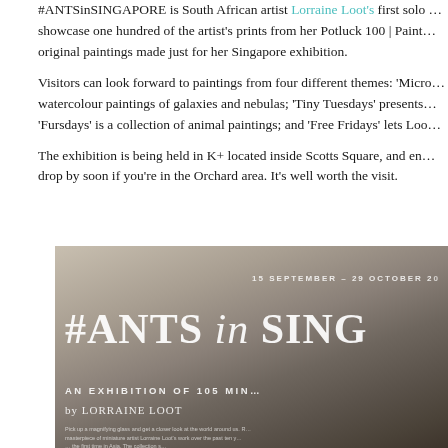#ANTSinSINGAPORE is South African artist Lorraine Loot's first solo … showcase one hundred of the artist's prints from her Potluck 100 | Paint… original paintings made just for her Singapore exhibition.
Visitors can look forward to paintings from four different themes: 'Micro… watercolour paintings of galaxies and nebulas; 'Tiny Tuesdays' presents… 'Fursdays' is a collection of animal paintings; and 'Free Fridays' lets Loo…
The exhibition is being held in K+ located inside Scotts Square, and en… drop by soon if you're in the Orchard area. It's well worth the visit.
[Figure (photo): Exhibition poster for #ANTS in SING(APORE) by Lorraine Loot, showing the dates 15 September – 29 October and text 'AN EXHIBITION OF 105 MIN… by LORRAINE LOOT' on a warm grey/beige gradient background.]